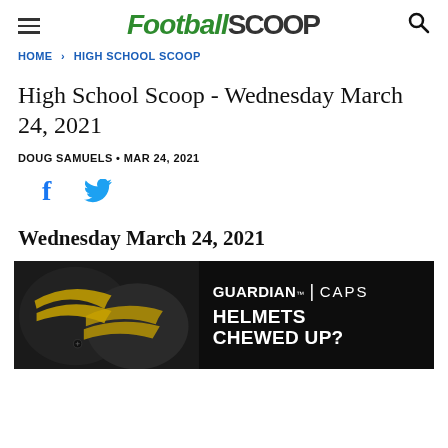FootballScoop
HOME › HIGH SCHOOL SCOOP
High School Scoop - Wednesday March 24, 2021
DOUG SAMUELS • MAR 24, 2021
[Figure (infographic): Social media share icons: Facebook and Twitter]
Wednesday March 24, 2021
[Figure (photo): Guardian Caps advertisement banner showing football helmets with text: GUARDIAN CAPS / HELMETS CHEWED UP?]